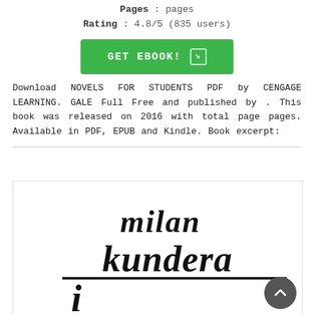Pages : pages
Rating : 4.8/5 (835 users)
[Figure (other): Green button labeled GET EBOOK! with arrow icon]
Download NOVELS FOR STUDENTS PDF by CENGAGE LEARNING. GALE Full Free and published by . This book was released on 2016 with total page pages. Available in PDF, EPUB and Kindle. Book excerpt:
[Figure (illustration): Book cover showing handwritten style text 'milan kundera' in black on white background, partially visible 'i' letter below]